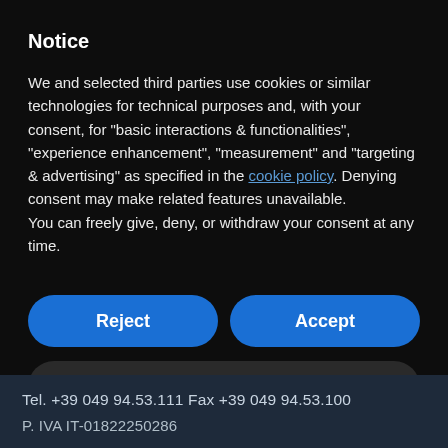Notice
We and selected third parties use cookies or similar technologies for technical purposes and, with your consent, for “basic interactions & functionalities”, “experience enhancement”, “measurement” and “targeting & advertising” as specified in the cookie policy. Denying consent may make related features unavailable.
You can freely give, deny, or withdraw your consent at any time.
Reject
Accept
Learn more and customize
Tel. +39 049 94.53.111 Fax +39 049 94.53.100
P. IVA IT-01822250286